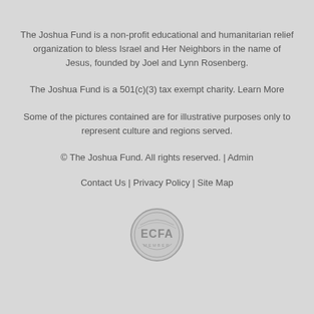The Joshua Fund is a non-profit educational and humanitarian relief organization to bless Israel and Her Neighbors in the name of Jesus, founded by Joel and Lynn Rosenberg.
The Joshua Fund is a 501(c)(3) tax exempt charity. Learn More
Some of the pictures contained are for illustrative purposes only to represent culture and regions served.
© The Joshua Fund. All rights reserved. | Admin
Contact Us | Privacy Policy | Site Map
[Figure (logo): ECFA Member seal/badge — circular grey seal with ECFA text and MEMBER text below]